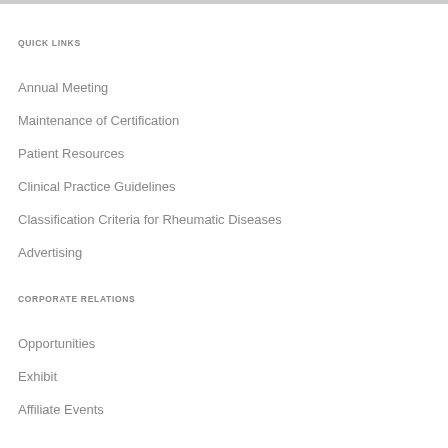QUICK LINKS
Annual Meeting
Maintenance of Certification
Patient Resources
Clinical Practice Guidelines
Classification Criteria for Rheumatic Diseases
Advertising
CORPORATE RELATIONS
Opportunities
Exhibit
Affiliate Events